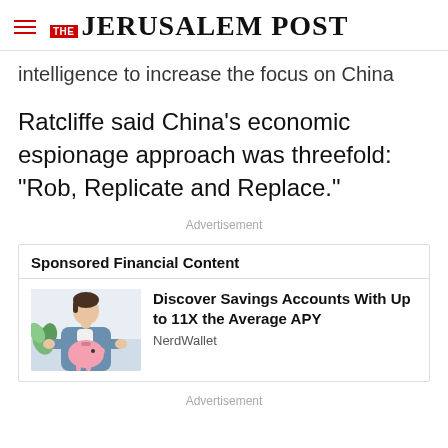THE JERUSALEM POST
intelligence to increase the focus on China
Ratcliffe said China's economic espionage approach was threefold: "Rob, Replicate and Replace."
Advertisement
Sponsored Financial Content
[Figure (photo): Person holding a pink piggy bank]
Discover Savings Accounts With Up to 11X the Average APY
NerdWallet
Advertisement